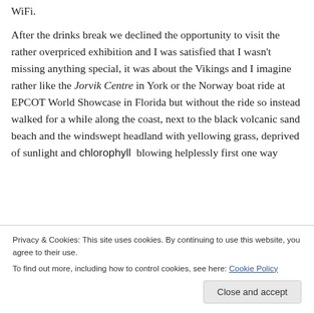WiFi.

After the drinks break we declined the opportunity to visit the rather overpriced exhibition and I was satisfied that I wasn't missing anything special, it was about the Vikings and I imagine rather like the Jorvik Centre in York or the Norway boat ride at EPCOT World Showcase in Florida but without the ride so instead walked for a while along the coast, next to the black volcanic sand beach and the windswept headland with yellowing grass, deprived of sunlight and chlorophyll  blowing helplessly first one way
Privacy & Cookies: This site uses cookies. By continuing to use this website, you agree to their use.
To find out more, including how to control cookies, see here: Cookie Policy
Close and accept